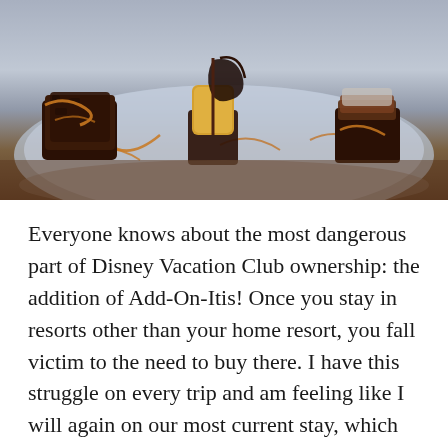[Figure (photo): A blue ceramic plate with three dessert bites: a dark chocolate/brownie piece on the left with caramel drizzle, a caramelized banana or pineapple chunk skewered with a chocolate curl in the center, and a small layered dark chocolate dessert on the right, all with caramel sauce drizzled on the plate.]
Everyone knows about the most dangerous part of Disney Vacation Club ownership: the addition of Add-On-Itis! Once you stay in resorts other than your home resort, you fall victim to the need to buy there. I have this struggle on every trip and am feeling like I will again on our most current stay, which was at the Boardwalk Villas.
But what about the other DVC add-ons? The add-ons to your member experience. These are they ancillary benefits of your Disney Vacation Club membership (a benefit of direct purchases only). The perks of being a